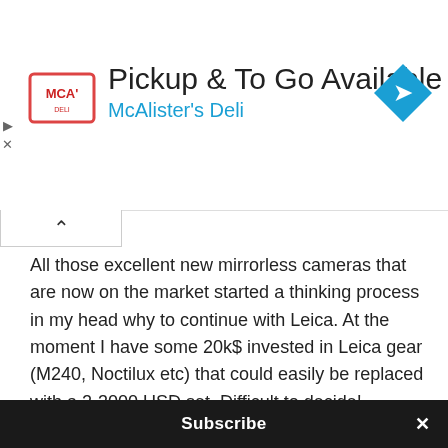[Figure (screenshot): Advertisement banner for McAlister's Deli: Pickup & To Go Available]
All those excellent new mirrorless cameras that are now on the market started a thinking process in my head why to continue with Leica. At the moment I have some 20k$ invested in Leica gear (M240, Noctilux etc) that could easily be replaced with a 2-3000 USD set. Difficult to decide!
REPLY
retow says:
MARCH 2, 2014 AT 9:32 PM
Subscribe